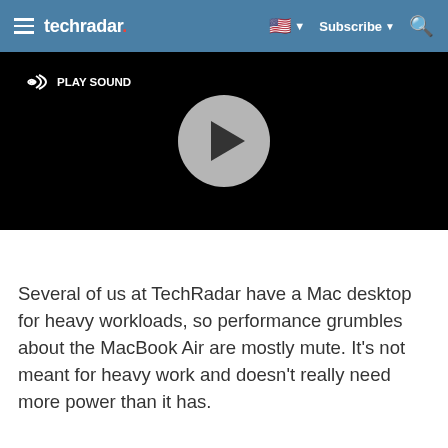techradar | Subscribe
[Figure (screenshot): Video player with a black background, a circular gray play button in the center, and a 'PLAY SOUND' button in the top-left corner.]
Several of us at TechRadar have a Mac desktop for heavy workloads, so performance grumbles about the MacBook Air are mostly mute. It's not meant for heavy work and doesn't really need more power than it has.